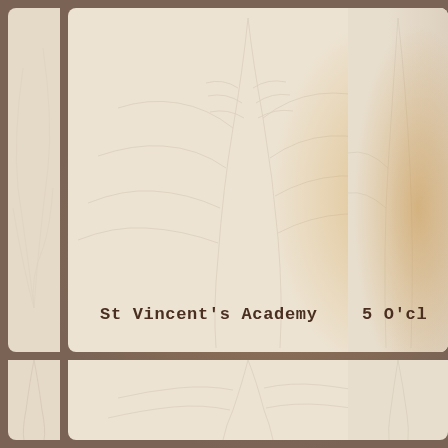[Figure (photo): A grid of four leather/parchment-textured cream-colored panels arranged in a 2x2 grid with dark wooden dividers between them. The top two panels are larger, showing feather or palm frond impressions on the surface. The bottom two panels are partially cut off. The top-left panel is mostly cut off at the left edge. The top-right panel shows a warm golden glow. Two text labels appear: 'St Vincent's Academy' on the top-center panel and '5 O'cl' (partially visible) on the top-right panel.]
St Vincent's Academy
5 O'cl